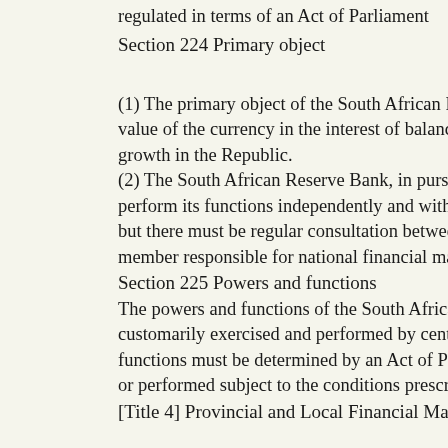regulated in terms of an Act of Parliament
Section 224 Primary object
(1) The primary object of the South African Reserve Bank to protect the value of the currency in the interest of balanced and sustainable economic growth in the Republic.
(2) The South African Reserve Bank, in pursuit of its primary object, must perform its functions independently and without fear, favour or prejudice, but there must be regular consultation between the Bank and the cabinet member responsible for national financial matters.
Section 225 Powers and functions
The powers and functions of the South African Reserve Bank are those customarily exercised and performed by central banks, which powers and functions must be determined by an Act of Parliament and must be exercised or performed subject to the conditions prescribed in terms of that Act.
[Title 4] Provincial and Local Financial Matters
Section 226 Provincial Revenue Funds